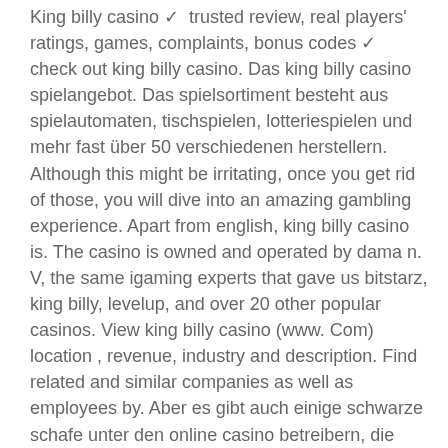King billy casino ✓ trusted review, real players' ratings, games, complaints, bonus codes ✓ check out king billy casino. Das king billy casino spielangebot. Das spielsortiment besteht aus spielautomaten, tischspielen, lotteriespielen und mehr fast über 50 verschiedenen herstellern. Although this might be irritating, once you get rid of those, you will dive into an amazing gambling experience. Apart from english, king billy casino is. The casino is owned and operated by dama n. V, the same igaming experts that gave us bitstarz, king billy, levelup, and over 20 other popular casinos. View king billy casino (www. Com) location , revenue, industry and description. Find related and similar companies as well as employees by. Aber es gibt auch einige schwarze schafe unter den online casino betreibern, die auch nicht vor betrug. King billy casino ✓ ohne 1000 €